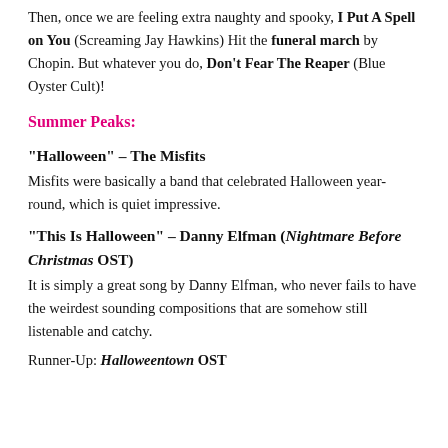Then, once we are feeling extra naughty and spooky, I Put A Spell on You (Screaming Jay Hawkins) Hit the funeral march by Chopin. But whatever you do, Don't Fear The Reaper (Blue Oyster Cult)!
Summer Peaks:
“Halloween” – The Misfits
Misfits were basically a band that celebrated Halloween year-round, which is quiet impressive.
“This Is Halloween” – Danny Elfman (Nightmare Before Christmas OST)
It is simply a great song by Danny Elfman, who never fails to have the weirdest sounding compositions that are somehow still listenable and catchy.
Runner-Up: Halloweentown OST